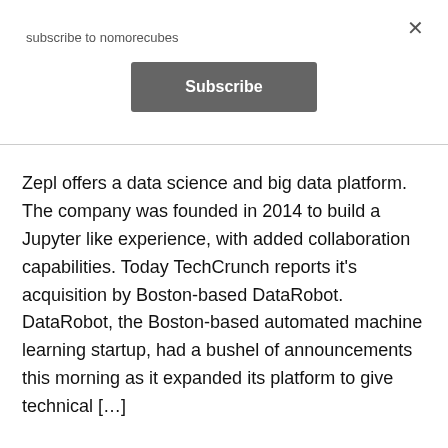subscribe to nomorecubes
×
Subscribe
Zepl offers a data science and big data platform. The company was founded in 2014 to build a Jupyter like experience, with added collaboration capabilities. Today TechCrunch reports it's acquisition by Boston-based DataRobot. DataRobot, the Boston-based automated machine learning startup, had a bushel of announcements this morning as it expanded its platform to give technical […]